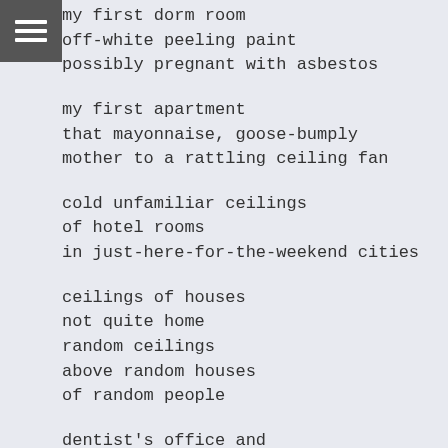my first dorm room
off-white peeling paint
possibly pregnant with asbestos
my first apartment
that mayonnaise, goose-bumply
mother to a rattling ceiling fan
cold unfamiliar ceilings
of hotel rooms
in just-here-for-the-weekend cities
ceilings of houses
not quite home
random ceilings
above random houses
of random people
dentist's office and
one night stands